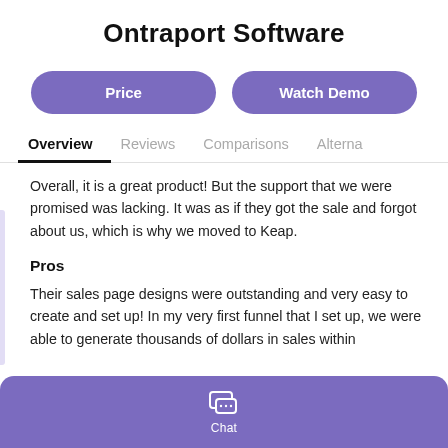Ontraport Software
[Figure (other): Two purple pill-shaped buttons: 'Price' and 'Watch Demo']
Overview  Reviews  Comparisons  Alterna
Overall, it is a great product! But the support that we were promised was lacking. It was as if they got the sale and forgot about us, which is why we moved to Keap.
Pros
Their sales page designs were outstanding and very easy to create and set up! In my very first funnel that I set up, we were able to generate thousands of dollars in sales within
[Figure (other): Purple chat bar at bottom with chat bubble icon and 'Chat' label]